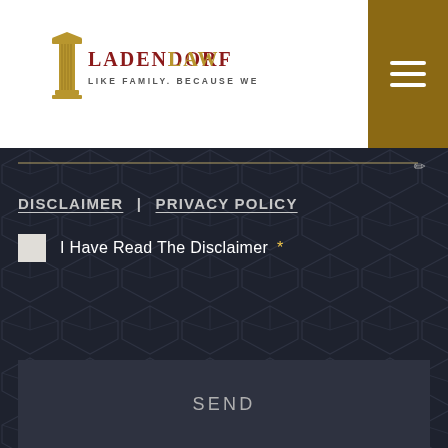[Figure (logo): Ladendorf Law logo with golden column pillar and text 'Like Family. Because We Are.']
DISCLAIMER | PRIVACY POLICY
I Have Read The Disclaimer *
SEND